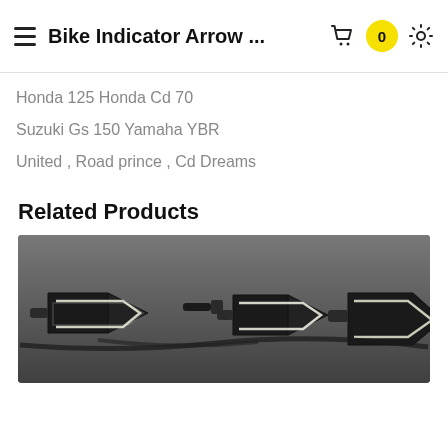Bike Indicator Arrow ...
Honda  125 Honda Cd 70
Suzuki Gs 150 Yamaha YBR
United , Road prince , Cd Dreams
Related Products
[Figure (photo): Two black arrow-shaped LED bike turn signal indicators with white LED strip lighting, shown against a dark grey background.]